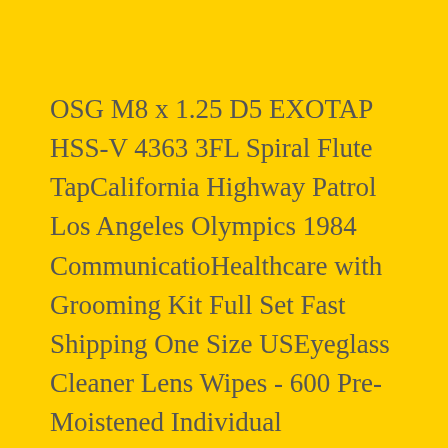OSG M8 x 1.25 D5 EXOTAP HSS-V 4363 3FL Spiral Flute TapCalifornia Highway Patrol Los Angeles Olympics 1984 CommunicatioHealthcare with Grooming Kit Full Set Fast Shipping One Size USEyeglass Cleaner Lens Wipes - 600 Pre-Moistened Individual WrappChain Sling - 5/16" x 6' Single Leg with Grab Hooks - Grade 100Ainsty SF Mini Terrain 28mm Storage Tanks Pack NewCleveland 1-3/8" Interch. Pilot C'bore, 3/8" Pilot Hole, 3/4" TuTaramps M1 LED Clip Protect Remote Monitor Wired Indicator